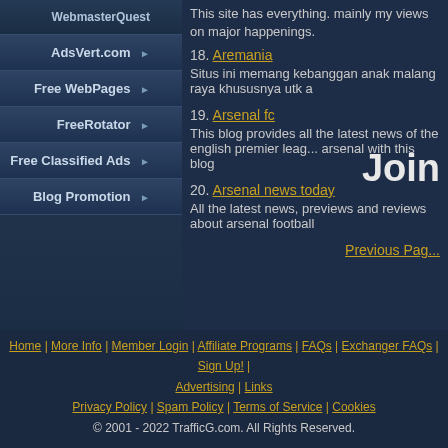WebmasterQuest
AdsVert.com
Free WebPages
FreeRotator
Free Classified Ads
Blog Promotion
This site has everything. mainly my views on major happenings.
18. Aremania
Situs ini memang kebanggan anak malang raya khususnya utk a...
19. Arsenal fc
This blog provides all the latest news of the english premier league... arsenal with this blog
20. Arsenal news today
All the latest news, previews and reviews about arsenal football
Previous Page
Join
Home | More Info | Member Login | Affiliate Programs | FAQs | Exchanger FAQs | Sign Up! | Advertising | Links
Privacy Policy | Spam Policy | Terms of Service | Cookies
© 2001 - 2022 TrafficG.com. All Rights Reserved.